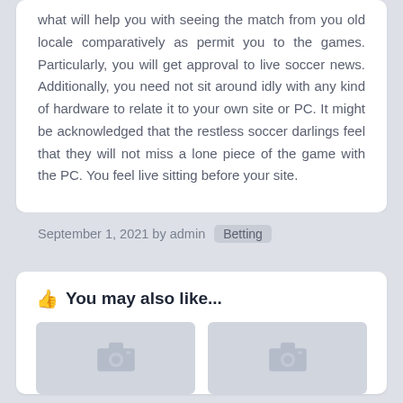what will help you with seeing the match from you old locale comparatively as permit you to the games. Particularly, you will get approval to live soccer news. Additionally, you need not sit around idly with any kind of hardware to relate it to your own site or PC. It might be acknowledged that the restless soccer darlings feel that they will not miss a lone piece of the game with the PC. You feel live sitting before your site.
September 1, 2021 by admin  Betting
You may also like...
[Figure (photo): Placeholder image thumbnail with camera icon]
[Figure (photo): Placeholder image thumbnail with camera icon]